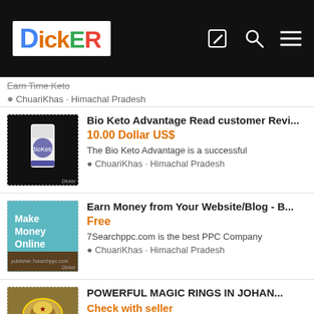DICKER
Earn Time Keto · ChuariKhas · Himachal Pradesh
Bio Keto Advantage Read customer Revi... · 10.00 Dollar US$ · The Bio Keto Advantage is a successful · ChuariKhas · Himachal Pradesh
Earn Money from Your Website/Blog - B... · Free · 7Searchppc.com is the best PPC Company · ChuariKhas · Himachal Pradesh
POWERFUL MAGIC RINGS IN JOHAN... · Check with seller